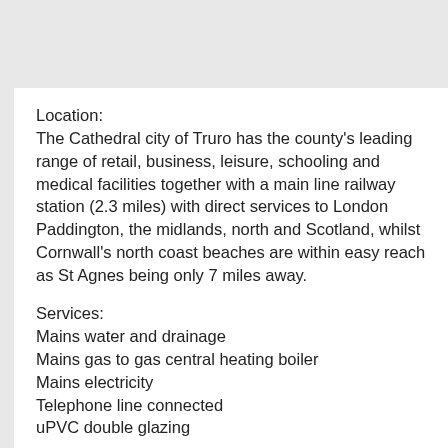Location:
The Cathedral city of Truro has the county's leading range of retail, business, leisure, schooling and medical facilities together with a main line railway station (2.3 miles) with direct services to London Paddington, the midlands, north and Scotland, whilst Cornwall's north coast beaches are within easy reach as St Agnes being only 7 miles away.
Services:
Mains water and drainage
Mains gas to gas central heating boiler
Mains electricity
Telephone line connected
uPVC double glazing